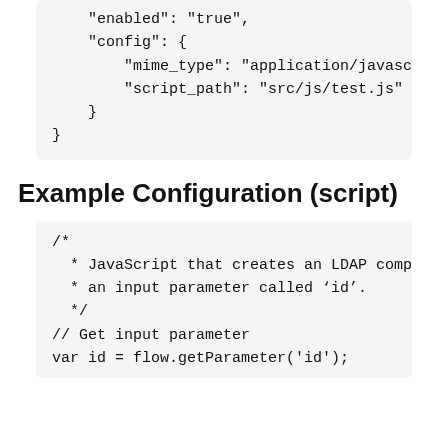"enabled": "true",
"config": {
    "mime_type": "application/javascript
    "script_path": "src/js/test.js"
}
}
Example Configuration (script)
/*
 * JavaScript that creates an LDAP compa
 * an input parameter called 'id'.
 */
// Get input parameter
var id = flow.getParameter('id');